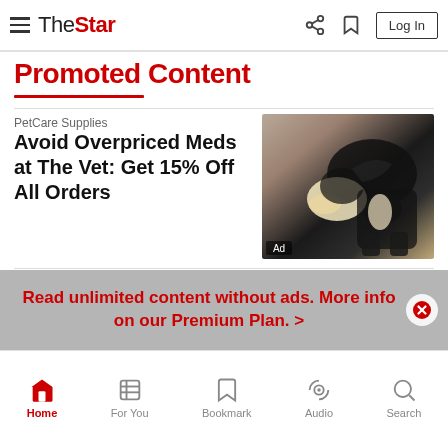The Star — Log In
Promoted Content
PetCare Supplies
Avoid Overpriced Meds at The Vet: Get 15% Off All Orders
[Figure (photo): Close-up photo of a black and white dog looking down, with an 'Ad' label overlay]
The Star
Exposing students to a new era of education
[Figure (photo): Photo of students and teachers in a classroom setting]
Read unlimited content without ads. More info on our Premium Plan. >
Home | For You | Bookmark | Audio | Search